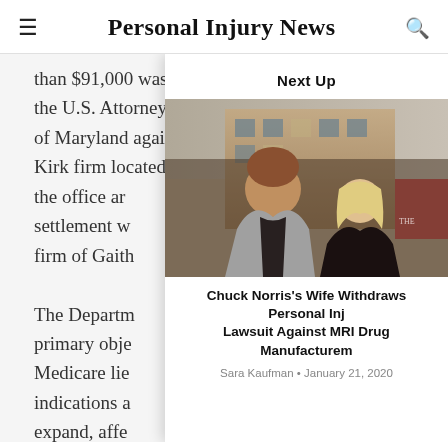Personal Injury News
than $91,000 was announced by the U.S. Attorney for the District of Maryland against the Saiontz & Kirk firm located the office ar settlement w firm of Gaith The Departm primary obje Medicare lie indications a expand, affe Whether or n
Next Up
[Figure (photo): Photo of Chuck Norris and his wife at a public event, standing in front of a building]
Chuck Norris's Wife Withdraws Personal Inj Lawsuit Against MRI Drug Manufacturem
Sara Kaufman • January 21, 2020